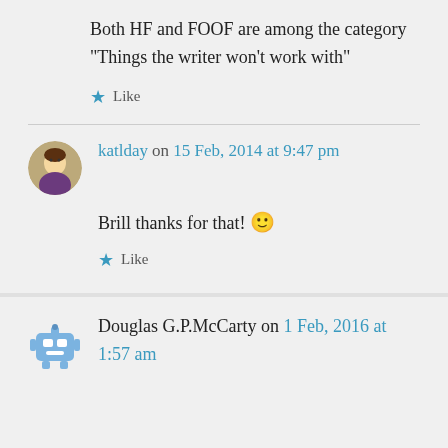Both HF and FOOF are among the category “Things the writer won’t work with”
★ Like
katlday on 15 Feb, 2014 at 9:47 pm
Brill thanks for that! 🙂
★ Like
Douglas G.P.McCarty on 1 Feb, 2016 at 1:57 am